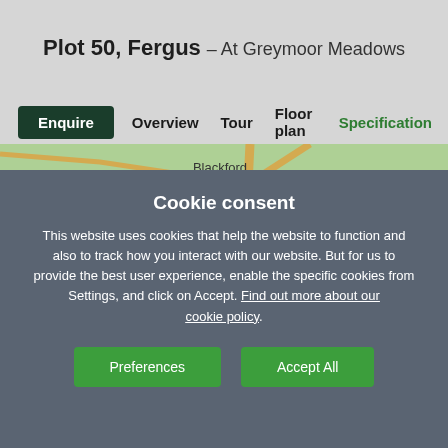Plot 50, Fergus – At Greymoor Meadows
Enquire  Overview  Tour  Floor plan  Specification
[Figure (map): Street map showing Kingstown area with surrounding places: Blackford, Rockcliffe, Harker, Houghton, Cargo, Wal. An orange location pin marker sits at Kingstown label.]
Cookie consent
This website uses cookies that help the website to function and also to track how you interact with our website. But for us to provide the best user experience, enable the specific cookies from Settings, and click on Accept. Find out more about our cookie policy.
Preferences  Accept All